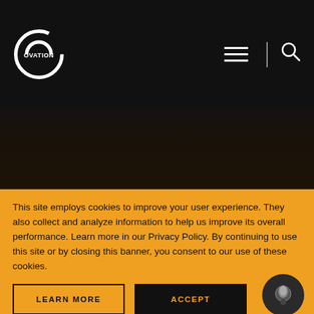[Figure (logo): Ovation TV logo — white circle with arc segments and OVATION text]
[Figure (other): Dark background hero image area with faint textured dark content]
This site employs cookies to improve your user experience. They also collect and analyze information to help us improve its overall performance. Learn more in our Privacy Policy. By continuing to use this site or by closing this banner, you consent to our use of these cookies.
LEARN MORE
ACCEPT